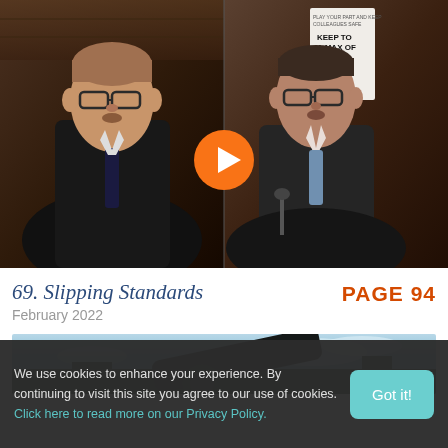[Figure (screenshot): Video thumbnail showing two men in suits at what appears to be a committee hearing. Left: older man with glasses and dark tie. Right: man with glasses and light pink tie. An orange play button overlay is in the center. A 'Keep to a max of 4 in this' social distancing sign is visible on the right side.]
69. Slipping Standards
February 2022
PAGE 94
[Figure (photo): Partial photo showing dark building/cannon silhouette against a blue sky]
We use cookies to enhance your experience. By continuing to visit this site you agree to our use of cookies. Click here to read more on our Privacy Policy.